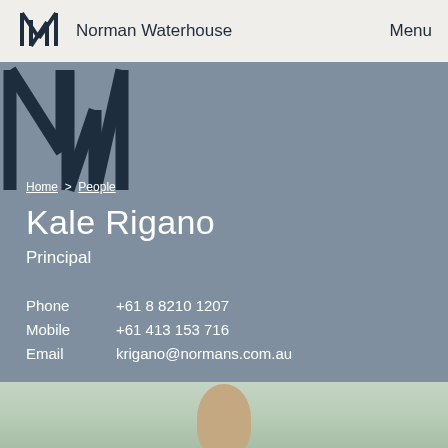Norman Waterhouse   Menu
Home > People
Kale Rigano
Principal
Phone   +61 8 8210 1207
Mobile   +61 413 153 716
Email   krigano@normans.com.au
[Figure (photo): Portrait photo of Kale Rigano, partially visible at bottom of page]